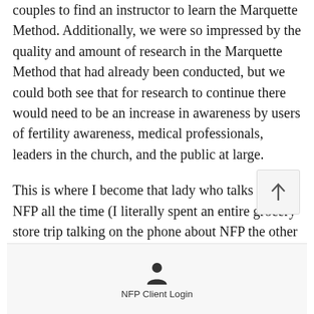couples to find an instructor to learn the Marquette Method. Additionally, we were so impressed by the quality and amount of research in the Marquette Method that had already been conducted, but we could both see that for research to continue there would need to be an increase in awareness by users of fertility awareness, medical professionals, leaders in the church, and the public at large.

This is where I become that lady who talks about NFP all the time (I literally spent an entire grocery store trip talking on the phone about NFP the other day. Sorry about that, Aldi.)
[Figure (other): NFP Client Login button with user/person icon]